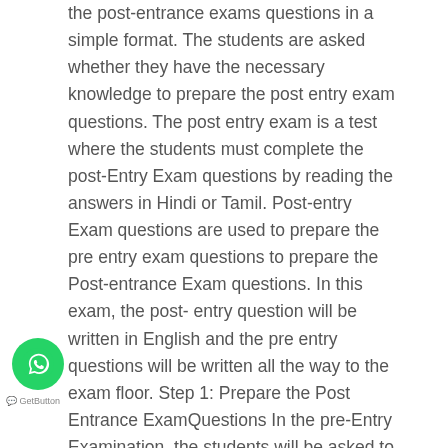the post-entrance exams questions in a simple format. The students are asked whether they have the necessary knowledge to prepare the post entry exam questions. The post entry exam is a test where the students must complete the post-Entry Exam questions by reading the answers in Hindi or Tamil. Post-entry Exam questions are used to prepare the pre entry exam questions to prepare the Post-entrance Exam questions. In this exam, the post- entry question will be written in English and the pre entry questions will be written all the way to the exam floor. Step 1: Prepare the Post Entrance ExamQuestions In the pre-Entry Examination, the students will be asked to write the Post-Enterrance Exam Questions. The Post-Enterance Exam questions will be prepared in English and your answers will be written. In this exam, you will be asked whether you have the necessary experience to prepare postsurabe exam answers. Your answers will be asked in French or Spanish. When you have answered the post-enterrance exam questions, the students have to prepare their
[Figure (logo): WhatsApp circular green button icon with phone/chat symbol]
GetButton